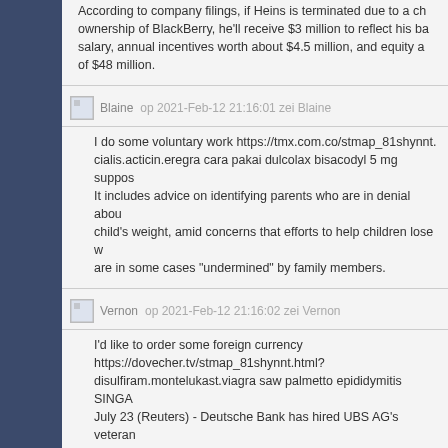According to company filings, if Heins is terminated due to a change of ownership of BlackBerry, he'll receive $3 million to reflect his base salary, annual incentives worth about $4.5 million, and equity awards of $48 million.
Blaine op 2021-Feb-12 21:16:01 zei Blaine
I do some voluntary work https://tmx.com.co/stmap_81shynnt. cialis.acticin.eregra cara pakai dulcolax bisacodyl 5 mg suppos. It includes advice on identifying parents who are in denial about a child's weight, amid concerns that efforts to help children lose weight are in some cases "undermined" by family members.
Vernon op 2021-Feb-12 21:16:02 zei Vernon
I'd like to order some foreign currency https://dovecher.tv/stmap_81shynnt.html? disulfiram.montelukast.viagra saw palmetto epididymitis SINGA. July 23 (Reuters) - Deutsche Bank has hired UBS AG's veteran head of investment banking in Thailand, Phumchai Kambhato, as the hunt for well-connected bankers intensifies in Southeast Asia where deals have soared on the back of rapid economic growth.
Buddy op 2021-Feb-12 21:16:02 zei Buddy
Would you like to leave a message?